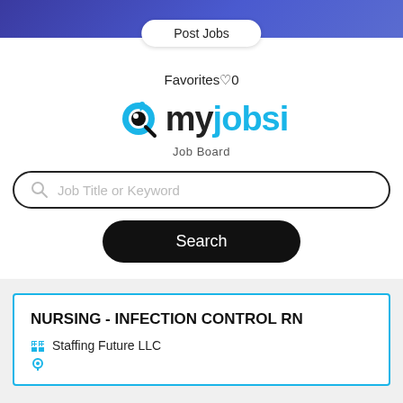[Figure (screenshot): Top navigation bar with purple/blue gradient background]
Post Jobs
Favorites ♡ 0
[Figure (logo): myjobsi Job Board logo with magnifying glass bird icon]
Job Title or Keyword
Search
NURSING - INFECTION CONTROL RN
Staffing Future LLC